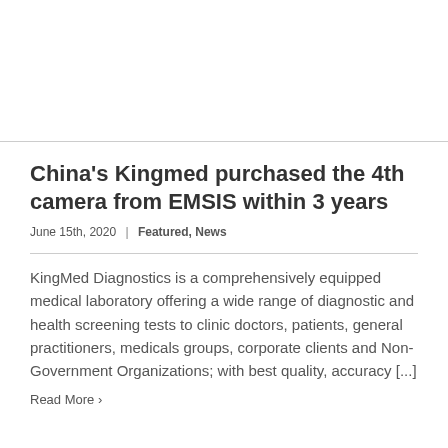China’s Kingmed purchased the 4th camera from EMSIS within 3 years
June 15th, 2020  |  Featured, News
KingMed Diagnostics is a comprehensively equipped medical laboratory offering a wide range of diagnostic and health screening tests to clinic doctors, patients, general practitioners, medicals groups, corporate clients and Non-Government Organizations; with best quality, accuracy [...]